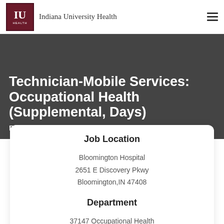Indiana University Health
Technician-Mobile Services: Occupational Health (Supplemental, Days)
Bloomington Hospital
Job Location
Bloomington Hospital
2651 E Discovery Pkwy
Bloomington,IN 47408
Department
37147 Occupational Health